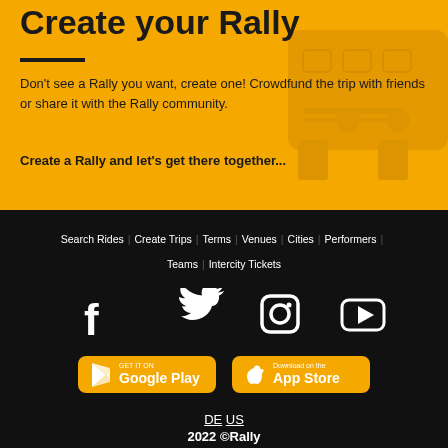Create your Rally
Don't see a Rally you want, create one! Crowdfund the trip with friends or share it with the Rally community.
Create a Rally and let's get there together...
Search Rides | Create Trips | Terms | Venues | Cities | Performers | Teams | Intercity Tickets
[Figure (infographic): Social media icons: Facebook, Twitter, Instagram, YouTube]
[Figure (infographic): App store buttons: GET IT ON Google Play, Download on the App Store]
DE US
2022 ©Rally